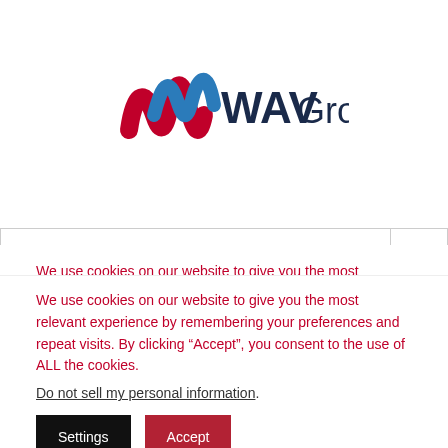[Figure (logo): WAV Group logo with blue/red ribbon W and dark blue text 'WAVGroup']
Go to...
Enter email address
Category *
Select category
We use cookies on our website to give you the most relevant experience by remembering your preferences and repeat visits. By clicking “Accept”, you consent to the use of ALL the cookies.
Do not sell my personal information.
Settings
Accept